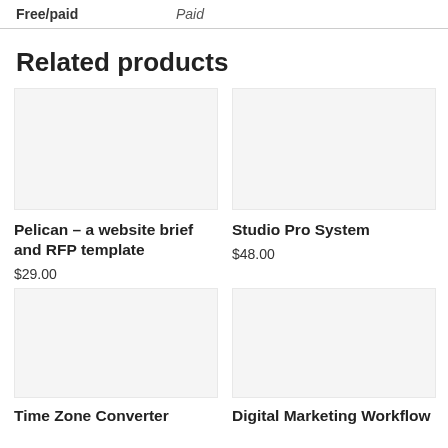| Free/paid |  |
| --- | --- |
| Free/paid | Paid |
Related products
Pelican – a website brief and RFP template
$29.00
Studio Pro System
$48.00
Time Zone Converter
Digital Marketing Workflow